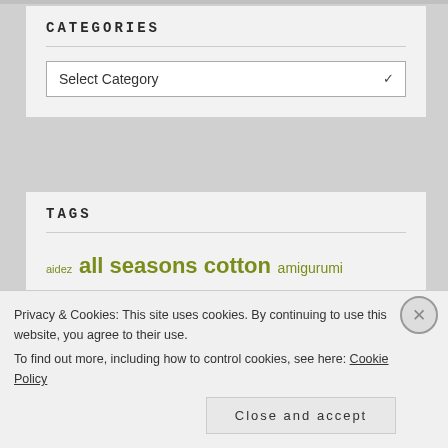CATEGORIES
Select Category
TAGS
aidez all seasons cotton amigurumi anhinga artfibers arts focus baking bamboozle bella's eclipse hat big girl knits blanket buddy blanket bunny blue moon fiber arts bobaknitters
Privacy & Cookies: This site uses cookies. By continuing to use this website, you agree to their use.
To find out more, including how to control cookies, see here: Cookie Policy
Close and accept